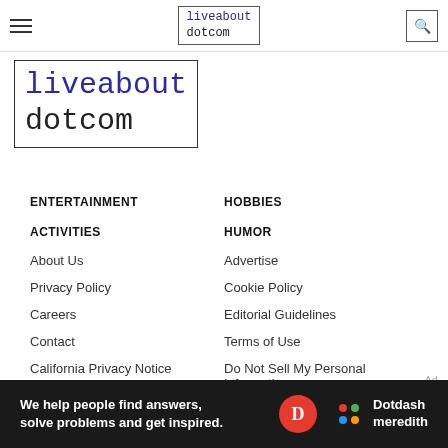liveabout dotcom [nav logo]
[Figure (logo): Large liveabout dotcom logo with border, two-tone: 'liveabout' in blue, 'dotcom' in dark]
ENTERTAINMENT
HOBBIES
ACTIVITIES
HUMOR
About Us
Advertise
Privacy Policy
Cookie Policy
Careers
Editorial Guidelines
Contact
Terms of Use
California Privacy Notice
Do Not Sell My Personal Information
[Figure (infographic): Dark banner: 'We help people find answers, solve problems and get inspired.' with Dotdash Meredith logo]